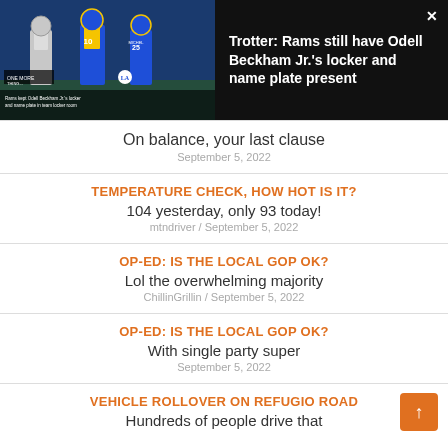[Figure (screenshot): Video thumbnail showing LA Rams football players in blue and gold uniforms with text overlay 'Rams kept Odell Beckham Jr.'s locker and name plate in team locker room']
Trotter: Rams still have Odell Beckham Jr.'s locker and name plate present
On balance, your last clause
September 5, 2022
TEMPERATURE CHECK, HOW HOT IS IT?
104 yesterday, only 93 today!
mtndriver / September 5, 2022
OP-ED: IS THE LOCAL GOP OK?
Lol the overwhelming majority
ChillinGrillin / September 5, 2022
OP-ED: IS THE LOCAL GOP OK?
With single party super
September 5, 2022
VEHICLE ROLLOVER ON REFUGIO ROAD
Hundreds of people drive that